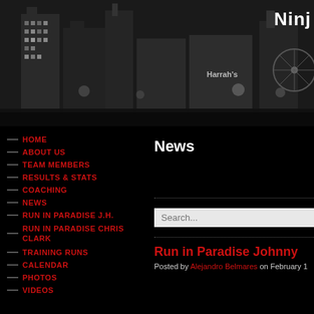[Figure (photo): Black and white nighttime skyline photo of Las Vegas Strip showing casino buildings including Harrah's, with city lights visible]
Ninj
HOME
ABOUT US
TEAM MEMBERS
RESULTS & STATS
COACHING
NEWS
RUN IN PARADISE J.H.
RUN IN PARADISE CHRIS CLARK
TRAINING RUNS
CALENDAR
PHOTOS
VIDEOS
News
Search...
Run in Paradise Johnny
Posted by Alejandro Belmares on February 11